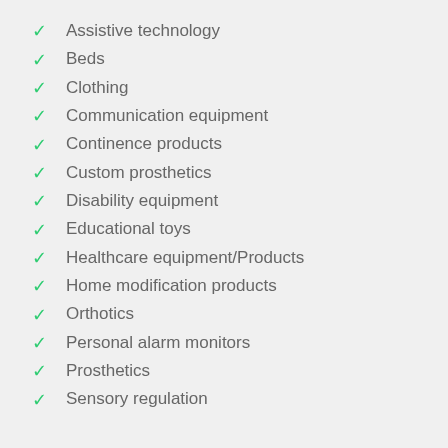Assistive technology
Beds
Clothing
Communication equipment
Continence products
Custom prosthetics
Disability equipment
Educational toys
Healthcare equipment/Products
Home modification products
Orthotics
Personal alarm monitors
Prosthetics
Sensory regulation